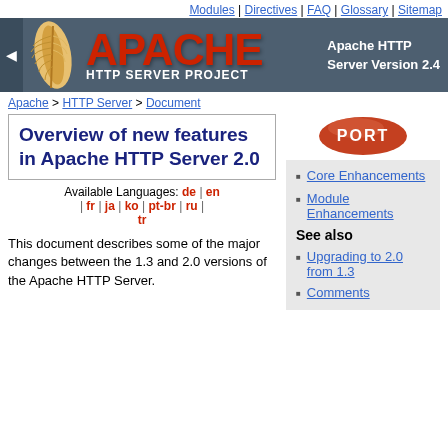Modules | Directives | FAQ | Glossary | Sitemap
[Figure (logo): Apache HTTP Server Project banner with feather logo, red APACHE text, and subtitle 'Apache HTTP Server Version 2.4']
Apache > HTTP Server > Document
Overview of new features in Apache HTTP Server 2.0
Available Languages: de | en | fr | ja | ko | pt-br | ru | tr
[Figure (illustration): PORT badge/ribbon graphic]
Core Enhancements
Module Enhancements
See also
Upgrading to 2.0 from 1.3
Comments
This document describes some of the major changes between the 1.3 and 2.0 versions of the Apache HTTP Server.